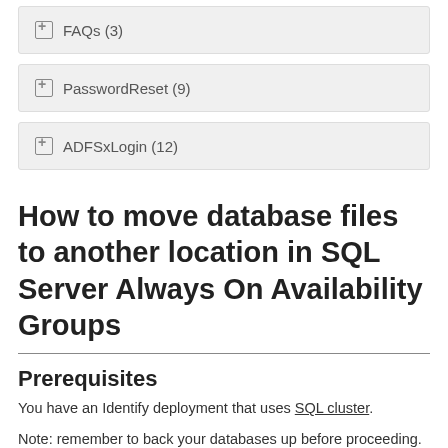⊞ FAQs (3)
⊞ PasswordReset (9)
⊞ ADFSxLogin (12)
How to move database files to another location in SQL Server Always On Availability Groups
Prerequisites
You have an Identify deployment that uses SQL cluster.
Note: remember to back your databases up before proceeding.